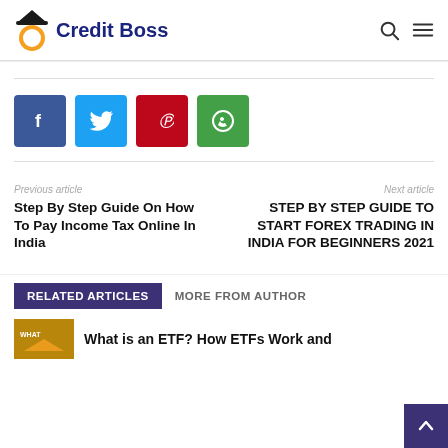Credit Boss
[Figure (logo): Credit Boss logo with orange circle, black hat icon, and dark blue bold text 'Credit Boss']
[Figure (infographic): Social share buttons: Facebook (blue), Twitter (light blue), Pinterest (red), WhatsApp (green)]
Previous article
Step By Step Guide On How To Pay Income Tax Online In India
Next article
STEP BY STEP GUIDE TO START FOREX TRADING IN INDIA FOR BEGINNERS 2021
RELATED ARTICLES   MORE FROM AUTHOR
What is an ETF? How ETFs Work and